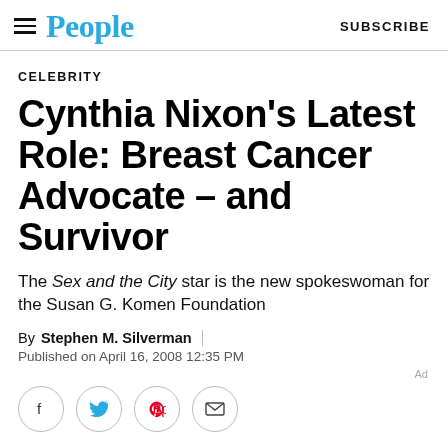People | SUBSCRIBE
CELEBRITY
Cynthia Nixon's Latest Role: Breast Cancer Advocate – and Survivor
The Sex and the City star is the new spokeswoman for the Susan G. Komen Foundation
By Stephen M. Silverman
Published on April 16, 2008 12:35 PM
[Figure (infographic): Social sharing icons: Facebook, Twitter, Pinterest, Email]